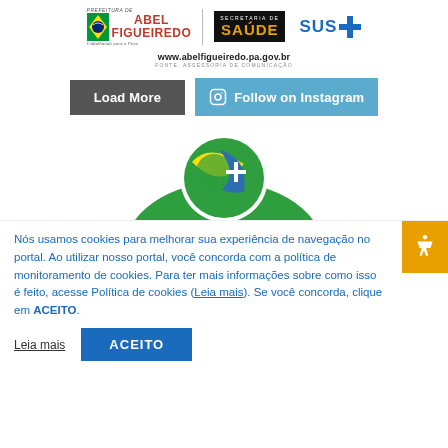[Figure (logo): Abel Figueiredo Prefeitura logo with Brazilian flag colors, Secretaria de Saude black and gold text box, and SUS blue cross logo]
www.abelfigueiredo.pa.gov.br
FONTE: ASSESSORIA DE COMUNICAÇÃO
Load More
Follow on Instagram
[Figure (logo): Abel Figueiredo municipal logo showing a green shield shape with Brazilian flag circle containing yellow/blue/green colors and a white cross/compass symbol]
Nós usamos cookies para melhorar sua experiência de navegação no portal. Ao utilizar nosso portal, você concorda com a política de monitoramento de cookies. Para ter mais informações sobre como isso é feito, acesse Política de cookies (Leia mais). Se você concorda, clique em ACEITO.
Leia mais
ACEITO